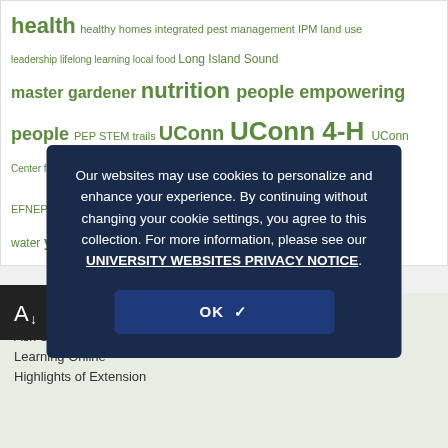health healthy homes integrated pest management IPM land use leadership lifelong learning local food Long Island Sound master gardener nutrition people empowering people PEP STEM trails UConn UConn 4-H UConn Center for Land Use Education and Research UConn CLEAR UConn EFNEP UConn Extension vegetables water youth development
[Figure (screenshot): Cookie consent overlay on dark navy background with text about cookie usage and an OK button]
Our websites may use cookies to personalize and enhance your experience. By continuing without changing your cookie settings, you agree to this collection. For more information, please see our UNIVERSITY WEBSITES PRIVACY NOTICE.
LEARN WITH US
Ask UConn Extension
Learning Online
Highlights of Extension